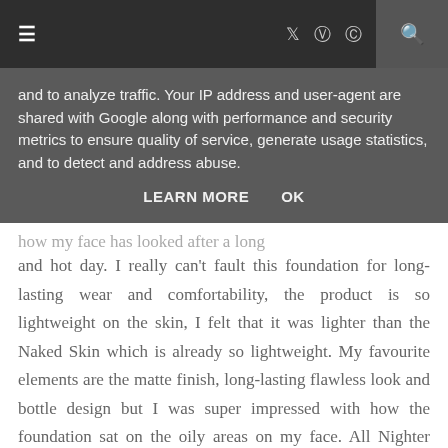≡  [twitter] [instagram] [pinterest]  [search]
and to analyze traffic. Your IP address and user-agent are shared with Google along with performance and security metrics to ensure quality of service, generate usage statistics, and to detect and address abuse.
LEARN MORE    OK
and hot day. I really can't fault this foundation for long-lasting wear and comfortability, the product is so lightweight on the skin, I felt that it was lighter than the Naked Skin which is already so lightweight. My favourite elements are the matte finish, long-lasting flawless look and bottle design but I was super impressed with how the foundation sat on the oily areas on my face. All Nighter applied easily over my oily areas